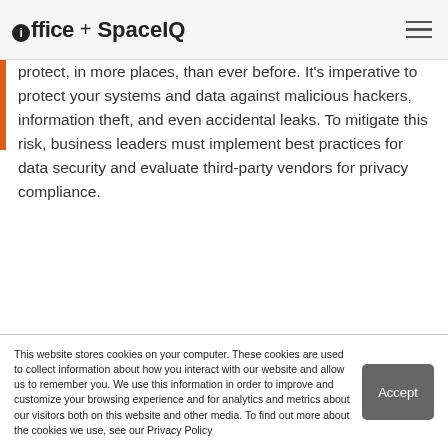ioffice + SpaceIQ
protect, in more places, than ever before. It's imperative to protect your systems and data against malicious hackers, information theft, and even accidental leaks. To mitigate this risk, business leaders must implement best practices for data security and evaluate third-party vendors for privacy compliance.
Noam Livnat
This website stores cookies on your computer. These cookies are used to collect information about how you interact with our website and allow us to remember you. We use this information in order to improve and customize your browsing experience and for analytics and metrics about our visitors both on this website and other media. To find out more about the cookies we use, see our Privacy Policy